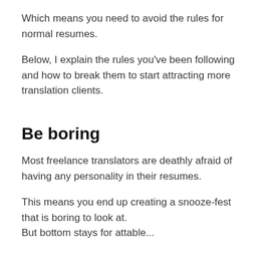Which means you need to avoid the rules for normal resumes.
Below, I explain the rules you've been following and how to break them to start attracting more translation clients.
Be boring
Most freelance translators are deathly afraid of having any personality in their resumes.
This means you end up creating a snooze-fest that is boring to look at. But bottom stays for attable...